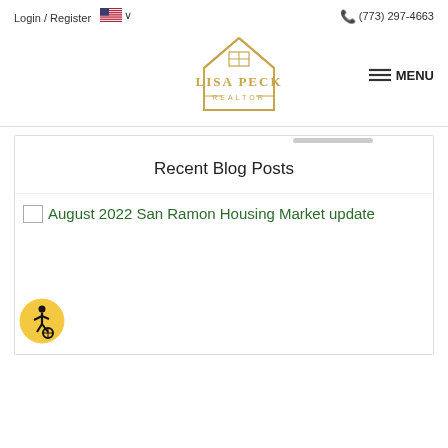Login / Register   🇺🇸 ∨   (773) 297-4663
[Figure (logo): Lisa Peck Realtor logo with house icon in gold/tan color]
≡ MENU
Recent Blog Posts
[Figure (photo): Broken/missing image placeholder for August 2022 San Ramon Housing Market update blog post]
August 2022 San Ramon Housing Market update
[Figure (other): Accessibility icon button - wheelchair user symbol in black on gold/yellow circle]